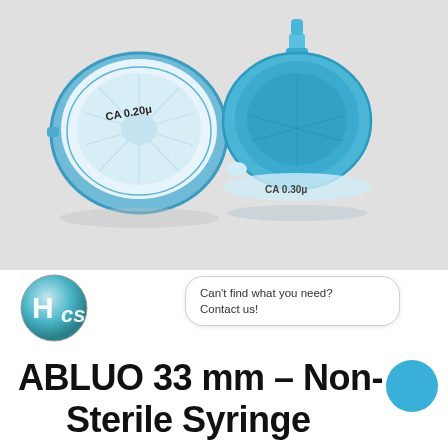[Figure (photo): Two syringe filters shown from different angles. Left: transparent/white filter labeled 'CA 0.20μ', right: blue filter labeled 'CA 0.30μ', both 33mm diameter on light gray background.]
[Figure (logo): HCS logo — circular metallic globe shape with letters H and cs in white]
Can't find what you need? Contact us!
ABLUO 33 mm – Non-Sterile Syringe Filters